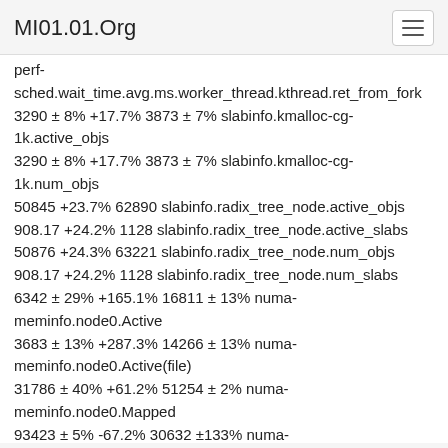MI01.01.Org
perf-sched.wait_time.avg.ms.worker_thread.kthread.ret_from_fork 3290 ± 8% +17.7% 3873 ± 7% slabinfo.kmalloc-cg-1k.active_objs 3290 ± 8% +17.7% 3873 ± 7% slabinfo.kmalloc-cg-1k.num_objs 50845 +23.7% 62890 slabinfo.radix_tree_node.active_objs 908.17 +24.2% 1128 slabinfo.radix_tree_node.active_slabs 50876 +24.3% 63221 slabinfo.radix_tree_node.num_objs 908.17 +24.2% 1128 slabinfo.radix_tree_node.num_slabs 6342 ± 29% +165.1% 16811 ± 13% numa-meminfo.node0.Active 3683 ± 13% +287.3% 14266 ± 13% numa-meminfo.node0.Active(file) 31786 ± 40% +61.2% 51254 ± 2% numa-meminfo.node0.Mapped 93423 ± 5% -67.2% 30632 ±133% numa-meminfo.node0.PageTables 16014 ± 19% +313.9% 66284 ± 3% numa-meminfo.node1.Active 13022 ± 22% +289.8% 50755 ± 3% numa-meminfo.node1.Active(anon) 2991 ± 17% +419.1% 15528 ± 12% numa-meminfo.node1.Active(file) 481048 ± 3% +10.8% 533239 ± 3% numa-meminfo.node1.Dirty 564411 ± 8% +23.2% 695626 ± 13% numa-